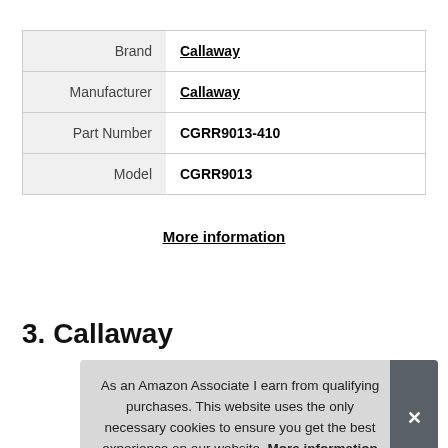| Brand | Callaway |
| Manufacturer | Callaway |
| Part Number | CGRR9013-410 |
| Model | CGRR9013 |
More information
3. Callaway
As an Amazon Associate I earn from qualifying purchases. This website uses the only necessary cookies to ensure you get the best experience on our website. More information